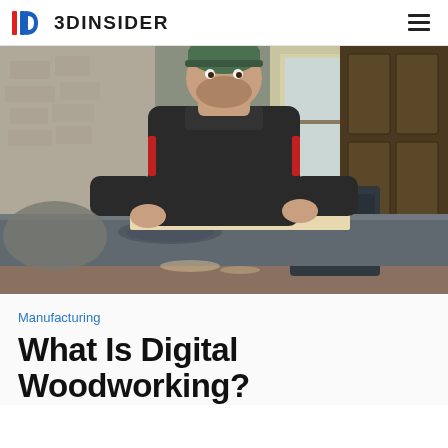3DINSIDER
[Figure (photo): A craftsman in a dark jacket and green cap working with a piece of wood on a table saw in a workshop. Various woodworking machines and tools visible in the background.]
Manufacturing
What Is Digital Woodworking?